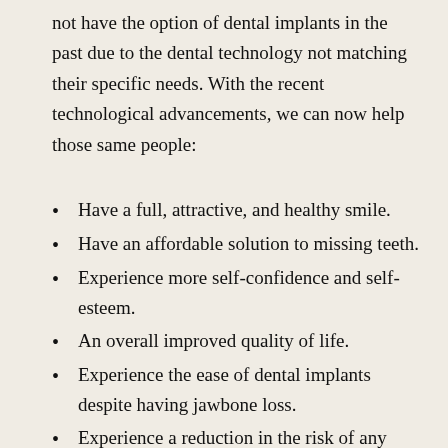not have the option of dental implants in the past due to the dental technology not matching their specific needs. With the recent technological advancements, we can now help those same people:
Have a full, attractive, and healthy smile.
Have an affordable solution to missing teeth.
Experience more self-confidence and self-esteem.
An overall improved quality of life.
Experience the ease of dental implants despite having jawbone loss.
Experience a reduction in the risk of any future jawbone atrophy.